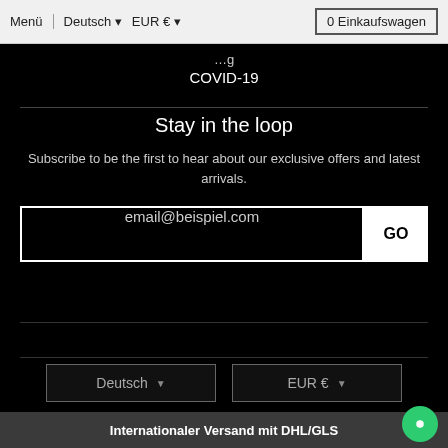Menü | Deutsch ▼  EUR € ▼   0 Einkaufswagen
…g
COVID-19
Stay in the loop
Subscribe to be the first to hear about our exclusive offers and latest arrivals.
email@beispiel.com  GO
Deutsch ▼   EUR € ▼
Akzeptierte Zahlungen
Internationaler Versand mit DHL/GLS